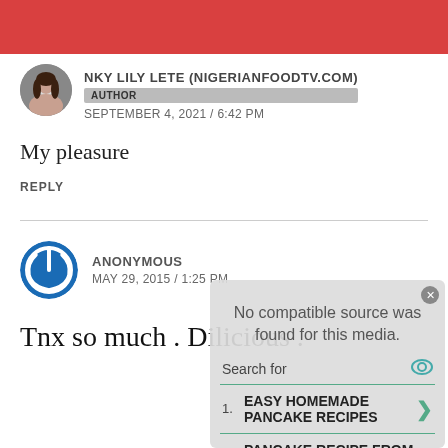NKY LILY LETE (NIGERIANFOODTV.COM) AUTHOR
SEPTEMBER 4, 2021 / 6:42 PM
My pleasure
REPLY
ANONYMOUS
MAY 29, 2015 / 1:25 PM
Tnx so much . Dilicious .
[Figure (screenshot): Ad overlay showing 'No compatible source was found for this media.' with a search widget listing 1. EASY HOMEMADE PANCAKE RECIPES and 2. PANCAKE RECIPE FROM SCRATCH]